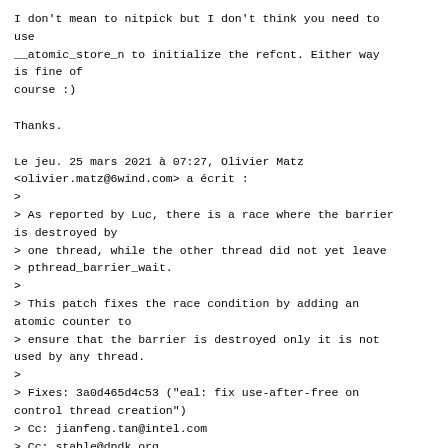I don't mean to nitpick but I don't think you need to use
__atomic_store_n to initialize the refcnt. Either way is fine of
course :)

Thanks.

Le jeu. 25 mars 2021 à 07:27, Olivier Matz
<olivier.matz@6wind.com> a écrit :
>
> As reported by Luc, there is a race where the barrier is destroyed by
> one thread, while the other thread did not yet leave
> pthread_barrier_wait.
>
> This patch fixes the race condition by adding an atomic counter to
> ensure that the barrier is destroyed only it is not used by any thread.
>
> Fixes: 3a0d465d4c53 ("eal: fix use-after-free on control thread creation")
> Cc: jianfeng.tan@intel.com
> Cc: stable@dpdk.org
>
> Reported-by: Luc Pelletier <lucp.at.work@gmail.com>
> Signed-off-by: David Marchand
<david.marchand@redhat.com>